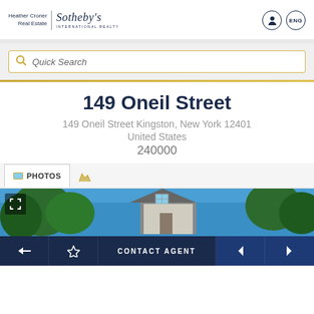[Figure (logo): Heather Croner Real Estate | Sotheby's International Realty logo with user icon and ENG language selector]
Quick Search
149 Oneil Street
149 Oneil Street Kingston, New York 12401
United States
240000
[Figure (photo): Partial exterior photo of a house with blue sky and trees visible]
CONTACT AGENT